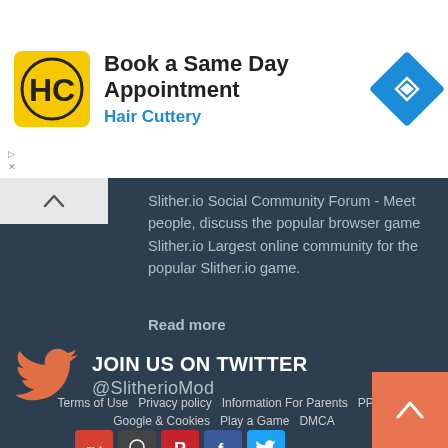[Figure (screenshot): Advertisement banner for Hair Cuttery - Book a Same Day Appointment with HC logo and navigation icon]
Slither.io Social Community Forum - Meet people, discuss the popular browser game Slither.io Largest online community for the popular Slither.io game.
Read more
JOIN US ON TWITTER @SlitherioMod
Terms of Use   Privacy policy   Information For Parents   PPCP   Google & Cookies   Play a Game   DMCA